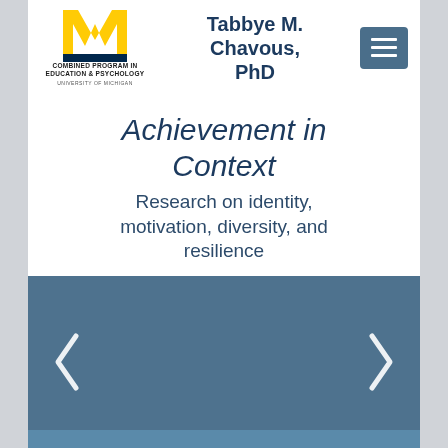[Figure (logo): University of Michigan block M logo in blue and gold, with text Combined Program in Education & Psychology, University of Michigan]
Tabbye M. Chavous, PhD
Achievement in Context
Research on identity, motivation, diversity, and resilience
[Figure (other): Blue image slider panel with left and right chevron navigation arrows]